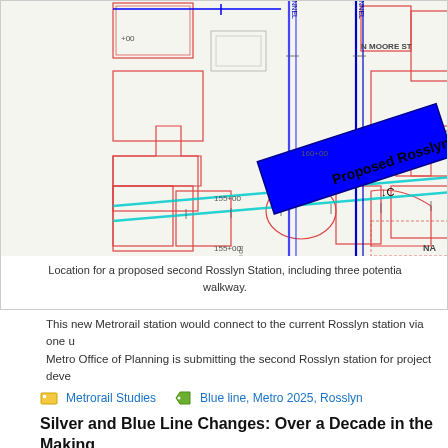[Figure (map): Engineering/planning map showing location for a proposed second Rosslyn Station. Features proposed red tunnel lines (vertical blue lines), proposed station block in bold blue diagonal, existing structures in red outlines, cyan diagonal lines (existing tunnels), station markers, street labels (N Moore St), and numeric station coordinates (155+00, 160+00). Label reads 'Proposed Rosslyn Stati...' and 'Proposed Rosslyn Station' with marker C.]
Location for a proposed second Rosslyn Station, including three potentia... walkway.
This new Metrorail station would connect to the current Rosslyn station via one u...
Metro Office of Planning is submitting the second Rosslyn station for project deve...
Metrorail Studies   Blue line, Metro 2025, Rosslyn
Silver and Blue Line Changes: Over a Decade in the Making